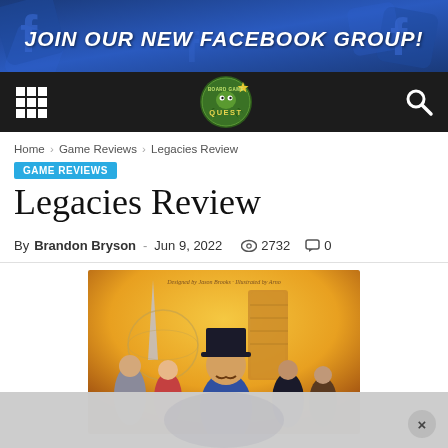[Figure (photo): Facebook group promotional banner with blue dice background and bold white italic text 'JOIN OUR NEW FACEBOOK GROUP!']
[Figure (logo): Board Game Quest website navigation bar with grid menu icon, site logo (octopus/cthulhu with QUEST text), and search icon on dark background]
Home › Game Reviews › Legacies Review
GAME REVIEWS
Legacies Review
By Brandon Bryson - Jun 9, 2022   2732   0
[Figure (photo): Book/game cover art showing period-dressed characters including a man in top hat and moose, woman, elderly man, and others against golden background with futuristic buildings. Text reads 'Designed by Jason Brooks · Illustrated by Arno']
[Figure (photo): Advertisement overlay at bottom of page with close (X) button]